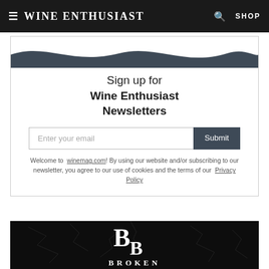Wine Enthusiast  SHOP
Sign up for Wine Enthusiast Newsletters
Enter your email  Submit
Welcome to winemag.com! By using our website and/or subscribing to our newsletter, you agree to our use of cookies and the terms of our Privacy Policy
[Figure (logo): Broken brand logo — large stylized 'B' letters with cracked black marble texture background and 'BROKEN' text below]